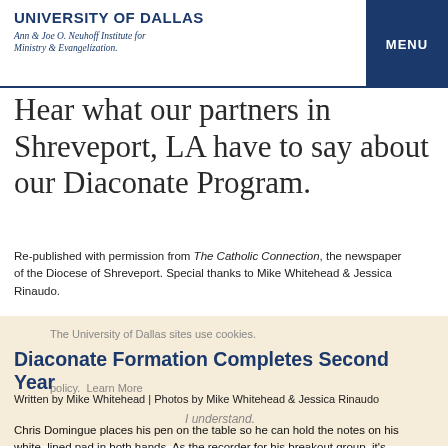UNIVERSITY OF DALLAS
Ann & Joe O. Neuhoff Institute for Ministry & Evangelization.
MENU
Hear what our partners in Shreveport, LA have to say about our Diaconate Program.
Re-published with permission from The Catholic Connection, the newspaper of the Diocese of Shreveport. Special thanks to Mike Whitehead & Jessica Rinaudo.
The University of Dallas sites use cookies.
Diaconate Formation Completes Second Year
policy.  Learn More
Written by Mike Whitehead | Photos by Mike Whitehead & Jessica Rinaudo
I understand.
Chris Domingue places his pen on the table so he can hold the notes on his white, lined pad in both hands. As the recorder for his breakout group, it's Domingue's responsibility to demonstrate how